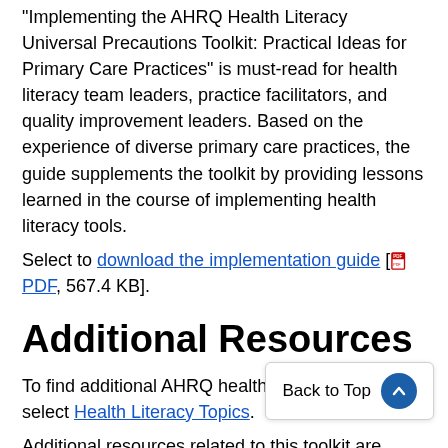"Implementing the AHRQ Health Literacy Universal Precautions Toolkit: Practical Ideas for Primary Care Practices" is must-read for health literacy team leaders, practice facilitators, and quality improvement leaders. Based on the experience of diverse primary care practices, the guide supplements the toolkit by providing lessons learned in the course of implementing health literacy tools.
Select to download the implementation guide [PDF, 567.4 KB].
Additional Resources
To find additional AHRQ health literacy resources, select Health Literacy Topics.
Additional resources related to this toolkit are located at